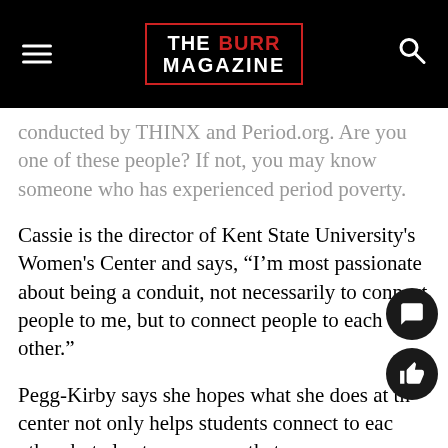THE BURR MAGAZINE
conducted by THINX and Period.org. Are you one of these people? If not, you may know someone who has experienced period poverty.
Cassie is the director of Kent State University's Women's Center and says, “I’m most passionate about being a conduit, not necessarily to connect people to me, but to connect people to each other.”
Pegg-Kirby says she hopes what she does at the center not only helps students connect to each other, but also to resources that serve themselves, and help them serve their communities also. Programs centered around